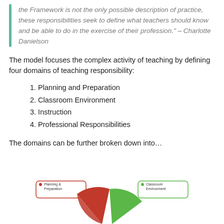the Framework is not the only possible description of practice, these responsibilities seek to define what teachers should know and be able to do in the exercise of their profession." – Charlotte Danielson
The model focuses the complex activity of teaching by defining four domains of teaching responsibility:
1. Planning and Preparation
2. Classroom Environment
3. Instruction
4. Professional Responsibilities
The domains can be further broken down into…
[Figure (other): Partial pie/donut diagram showing four colored sections labeled: Planning & Preparation (red, top-left), Classroom Environment (green, top-right), with rest of diagram cut off at bottom of page.]